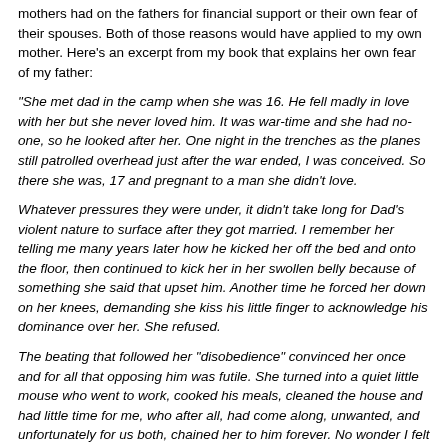mothers had on the fathers for financial support or their own fear of their spouses. Both of those reasons would have applied to my own mother. Here's an excerpt from my book that explains her own fear of my father:
"She met dad in the camp when she was 16. He fell madly in love with her but she never loved him. It was war-time and she had no-one, so he looked after her. One night in the trenches as the planes still patrolled overhead just after the war ended, I was conceived. So there she was, 17 and pregnant to a man she didn't love.
Whatever pressures they were under, it didn't take long for Dad's violent nature to surface after they got married. I remember her telling me many years later how he kicked her off the bed and onto the floor, then continued to kick her in her swollen belly because of something she said that upset him. Another time he forced her down on her knees, demanding she kiss his little finger to acknowledge his dominance over her. She refused.
The beating that followed her "disobedience" convinced her once and for all that opposing him was futile. She turned into a quiet little mouse who went to work, cooked his meals, cleaned the house and had little time for me, who after all, had come along, unwanted, and unfortunately for us both, chained her to him forever. No wonder I felt she had an unspoken resentment of me all my life. "